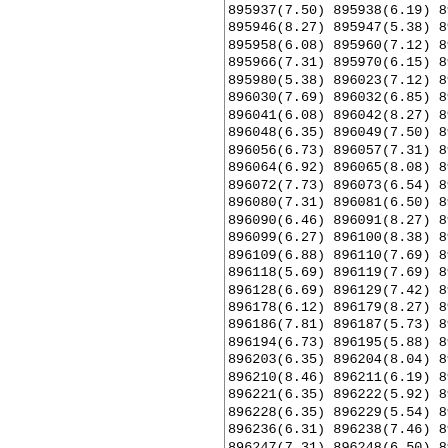895937(7.50) 895938(6.19) 895939... 895946(8.27) 895947(5.38) 895948... 895958(6.08) 895960(7.12) 895961... 895966(7.31) 895970(6.15) 895972... 895980(5.38) 896023(7.12) 896024... 896030(7.69) 896032(6.85) 896034... 896041(6.08) 896042(8.27) 896043... 896048(6.35) 896049(7.50) 896050... 896056(6.73) 896057(7.31) 896058... 896064(6.92) 896065(8.08) 896066... 896072(7.73) 896073(6.54) 896074... 896080(7.31) 896081(6.50) 896083... 896090(6.46) 896091(8.27) 896092... 896099(6.27) 896100(8.38) 896101... 896109(6.88) 896110(7.69) 896112... 896118(5.69) 896119(7.69) 896120... 896128(6.69) 896129(7.42) 896131... 896178(6.12) 896179(8.27) 896180... 896186(7.81) 896187(5.73) 896188... 896194(6.73) 896195(5.88) 896197... 896203(6.35) 896204(8.04) 896205... 896210(8.46) 896211(6.19) 896212... 896221(6.35) 896222(5.92) 896223... 896228(6.35) 896229(5.54) 896230... 896236(6.31) 896238(7.46) 896239... 896247(7.31) 896248(6.50) 896249... 896256(6.92) 896257(7.88) 896278... 896325(6.15) 896326(8.85) 896327... 896334(8.27) 896335(8.81) 896336... 896343(6.73) 896344(5.96) 896345... 896351(6.15) 896352(7.46) 896353...